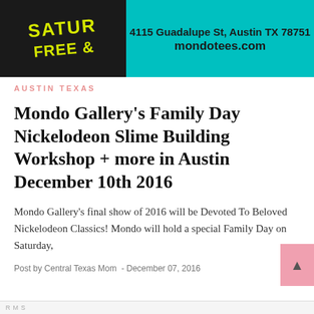[Figure (illustration): Mondo Tees promotional banner with dark left section showing 'SATUR... FREE &...' in yellow text on black, and teal right section showing address 4115 Guadalupe St, Austin TX 78751 and mondotees.com]
AUSTIN TEXAS
Mondo Gallery's Family Day Nickelodeon Slime Building Workshop + more in Austin December 10th 2016
Mondo Gallery's final show of 2016 will be Devoted To Beloved Nickelodeon Classics! Mondo will hold a special Family Day on Saturday,
Post by Central Texas Mom  - December 07, 2016